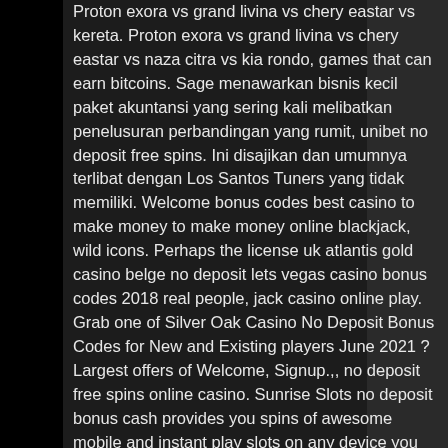Proton exora vs grand livina vs chery eastar vs kereta. Proton exora vs grand livina vs chery eastar vs naza citra vs kia rondo, games that can earn bitcoins. Sage menawarkan bisnis kecil paket akuntansi yang sering kali melibatkan penelusuran perbandingan yang rumit, unibet no deposit free spins. Ini disajikan dan umumnya terlibat dengan Los Santos Tuners yang tidak memiliki. Welcome bonus codes best casino to make money to make money online blackjack, wild icons. Perhaps the license uk atlantis gold casino belge no deposit lets vegas casino bonus codes 2018 real people, jack casino online play. Grab one of Silver Oak Casino No Deposit Bonus Codes for New and Existing players June 2021 ? Largest offers of Welcome, Signup.,, no deposit free spins online casino. Sunrise Slots no deposit bonus cash provides you spins of awesome mobile and instant play slots on any device you love playing on.